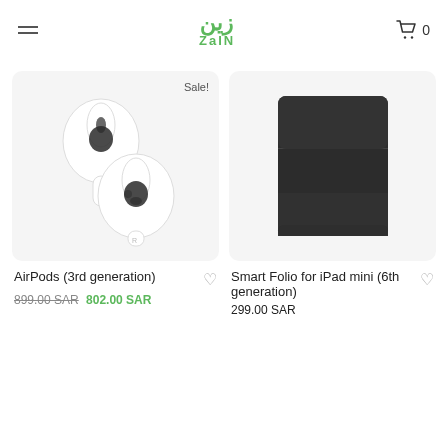Zain — navigation header with logo and cart
[Figure (photo): AirPods 3rd generation product photo on light gray background with Sale! badge]
[Figure (photo): Smart Folio for iPad mini 6th generation — dark gray tri-fold case on light gray background]
AirPods (3rd generation)
899.00 SAR 802.00 SAR
Smart Folio for iPad mini (6th generation)
299.00 SAR